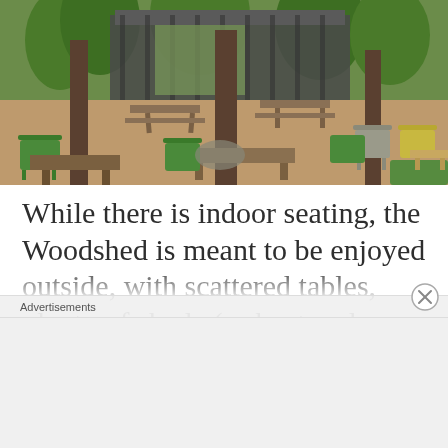[Figure (photo): Outdoor seating area of the Woodshed restaurant with mismatched wooden tables, green metal chairs, and trees providing shade over sandy ground, with a rustic wooden building in the background.]
While there is indoor seating, the Woodshed is meant to be enjoyed outside, with scattered tables, plenty of shade (or heat and even blankets during the chillier days),
Advertisements